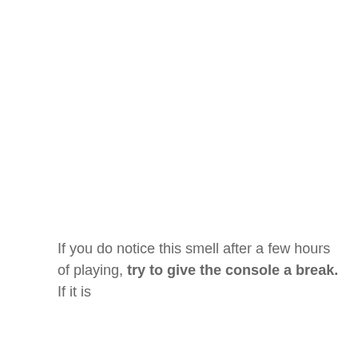If you do notice this smell after a few hours of playing, try to give the console a break. If it is